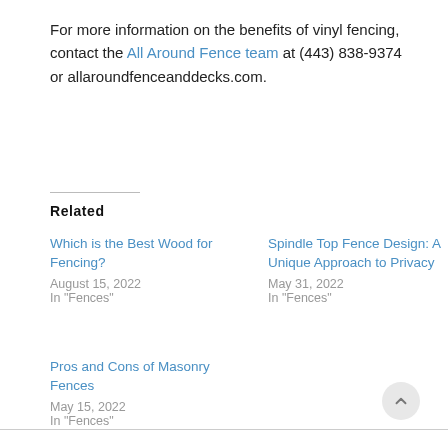For more information on the benefits of vinyl fencing, contact the All Around Fence team at (443) 838-9374 or allaroundfenceanddecks.com.
Related
Which is the Best Wood for Fencing?
August 15, 2022
In "Fences"
Spindle Top Fence Design: A Unique Approach to Privacy
May 31, 2022
In "Fences"
Pros and Cons of Masonry Fences
May 15, 2022
In "Fences"